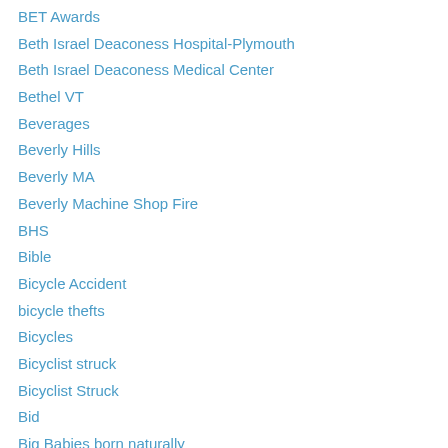BET Awards
Beth Israel Deaconess Hospital-Plymouth
Beth Israel Deaconess Medical Center
Bethel VT
Beverages
Beverly Hills
Beverly MA
Beverly Machine Shop Fire
BHS
Bible
Bicycle Accident
bicycle thefts
Bicycles
Bicyclist struck
Bicyclist Struck
Bid
Big Babies born naturally
Big Band Music
Big Brother
Big I's Diner